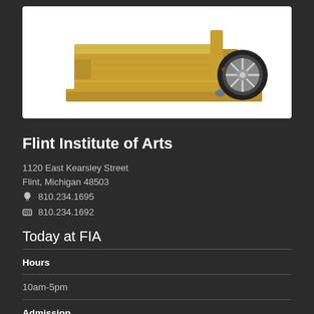[Figure (photo): A wooden hand truck / cart sculpture with a metal wheel, displayed on a white background. The object is made from reclaimed wood planks with a single metal spoked wheel.]
Flint Institute of Arts
1120 East Kearsley Street
Flint, Michigan 48503
📞 810.234.1695
🖨 810.234.1692
Today at FIA
Hours
10am-5pm
Admission
Members    Free
Genesee County Residents    Free